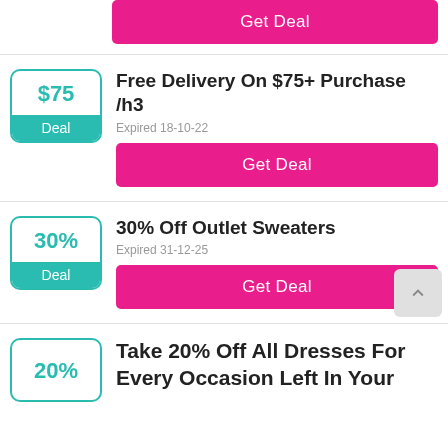[Figure (infographic): Partial 'Get Deal' pink button at top of page]
Free Delivery On $75+ Purchase /h3
Expired 18-10-22
[Figure (infographic): Deal badge with $75 value and teal Deal label]
Get Deal
30% Off Outlet Sweaters
Expired 31-12-25
[Figure (infographic): Deal badge with 30% value and teal Deal label]
Get Deal
Take 20% Off All Dresses For Every Occasion Left In Your
[Figure (infographic): Partial deal badge with 20% value and teal border, bottom of page]